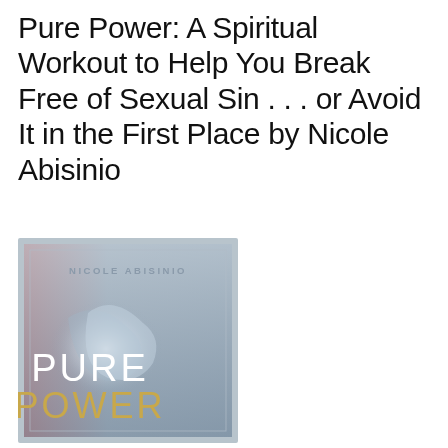Pure Power: A Spiritual Workout to Help You Break Free of Sexual Sin . . . or Avoid It in the First Place by Nicole Abisinio
[Figure (photo): Book cover of 'Pure Power' by Nicole Abisinio. The cover has a muted blue-grey and pink/red background with abstract imagery. At the top in small caps: 'NICOLE ABISINIO'. In the lower portion, large white text reads 'PURE' and below it in gold/yellow text 'POWER'.]